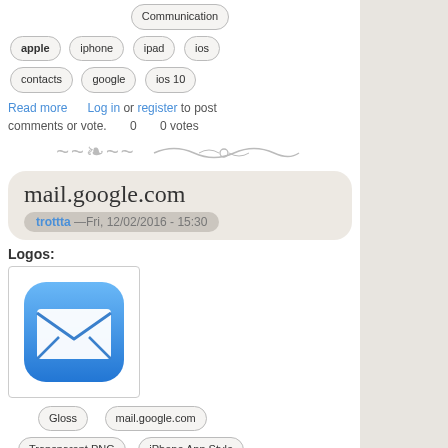Communication
apple  iphone  ipad  ios
contacts  google  ios 10
Read more    Log in or register to post comments or vote.    0    0 votes
mail.google.com
trottta —Fri, 12/02/2016 - 15:30
Logos:
[Figure (logo): iOS Mail app icon — blue gradient rounded square with white envelope]
Gloss   mail.google.com
Transparent PNG   iPhone App Style
Communication
apple  iphone  e-mail
ipad  ios  email  gmail
google  mail  ios 10
Read more   Log in or register to post